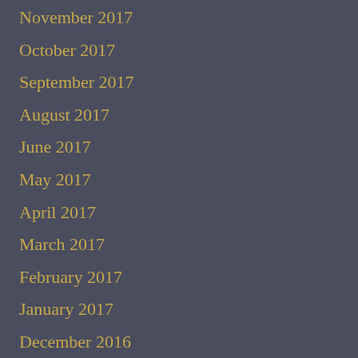November 2017
October 2017
September 2017
August 2017
June 2017
May 2017
April 2017
March 2017
February 2017
January 2017
December 2016
November 2016
October 2016